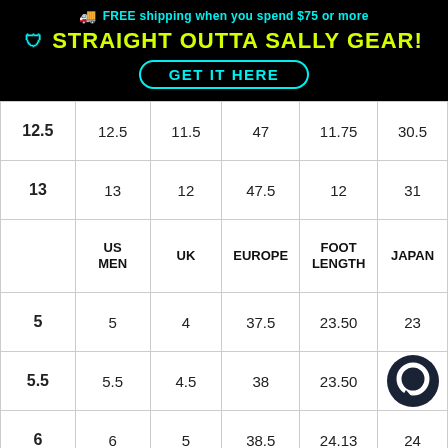FREE shipping when you spend $75 or more
STRAIGHT OUTTA SALLY GEAR!
GET IT HERE
|  | US MEN | UK | EUROPE | FOOT LENGTH | JAPAN |
| --- | --- | --- | --- | --- | --- |
| 12.5 | 12.5 | 11.5 | 47 | 11.75 | 30.5 |
| 13 | 13 | 12 | 47.5 | 12 | 31 |
|  | US MEN | UK | EUROPE | FOOT LENGTH | JAPAN |
| 5 | 5 | 4 | 37.5 | 23.50 | 23 |
| 5.5 | 5.5 | 4.5 | 38 | 23.50 |  |
| 6 | 6 | 5 | 38.5 | 24.13 | 24 |